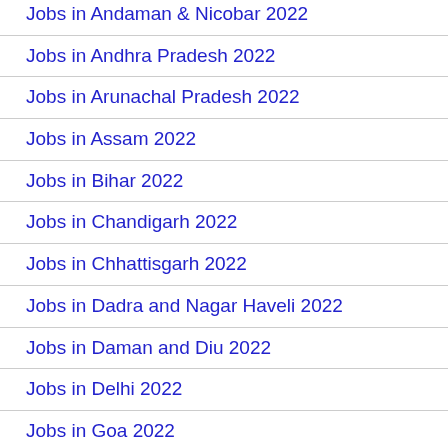Jobs in Andaman & Nicobar 2022
Jobs in Andhra Pradesh 2022
Jobs in Arunachal Pradesh 2022
Jobs in Assam 2022
Jobs in Bihar 2022
Jobs in Chandigarh 2022
Jobs in Chhattisgarh 2022
Jobs in Dadra and Nagar Haveli 2022
Jobs in Daman and Diu 2022
Jobs in Delhi 2022
Jobs in Goa 2022
Jobs in Gujarat 2022
Jobs in Haryana 2022